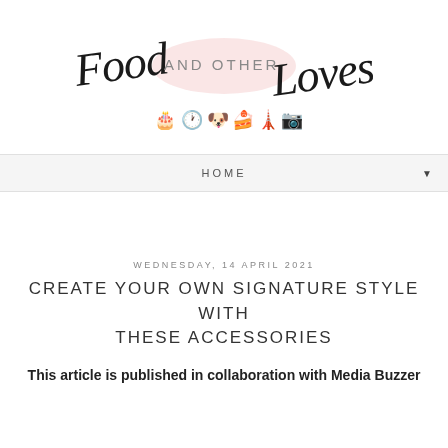[Figure (logo): Food AND OTHER Loves blog logo with script/print lettering and small food/lifestyle icons below (cake, clock, dog, mixer, Big Ben, camera)]
HOME ▼
WEDNESDAY, 14 APRIL 2021
CREATE YOUR OWN SIGNATURE STYLE WITH THESE ACCESSORIES
This article is published in collaboration with Media Buzzer